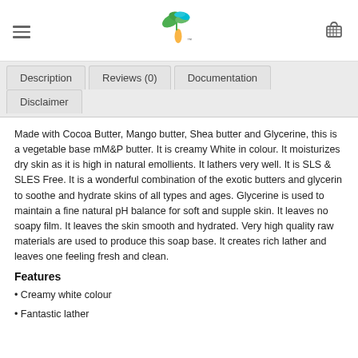Navigation header with hamburger menu, logo, and cart icon
[Figure (logo): Green plant/leaf logo with a water droplet, nature/organic brand logo]
Description | Reviews (0) | Documentation | Disclaimer (tab navigation)
Made with Cocoa Butter, Mango butter, Shea butter and Glycerine, this is a vegetable base mM&P butter. It is creamy White in colour. It moisturizes dry skin as it is high in natural emollients. It lathers very well. It is SLS & SLES Free. It is a wonderful combination of the exotic butters and glycerin to soothe and hydrate skins of all types and ages. Glycerine is used to maintain a fine natural pH balance for soft and supple skin. It leaves no soapy film. It leaves the skin smooth and hydrated. Very high quality raw materials are used to produce this soap base. It creates rich lather and leaves one feeling fresh and clean.
Features
Creamy white colour
Fantastic lather